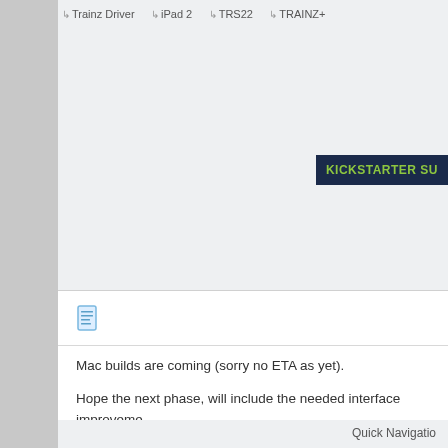Trainz Driver  iPad 2  TRS22  TRAINZ+
[Figure (screenshot): KICKSTARTER SU button on dark navy background]
[Figure (illustration): Document/page icon in blue]
Mac builds are coming (sorry no ETA as yet).
Hope the next phase, will include the needed interface improvements >> Once they become our top priority they will be updated. There is st
Tony Hilliam
Got questions about TRS19? Click here for TRS19 FAQs
Looking for answers to in-game functionality? Click here for help
Quick Navigatio